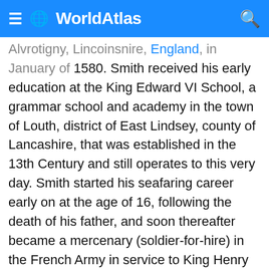≡ 🌐 WorldAtlas 🔍
Alvrotigny, Lincoinsnire, England, in January of 1580. Smith received his early education at the King Edward VI School, a grammar school and academy in the town of Louth, district of East Lindsey, county of Lancashire, that was established in the 13th Century and still operates to this very day. Smith started his seafaring career early on at the age of 16, following the death of his father, and soon thereafter became a mercenary (soldier-for-hire) in the French Army in service to King Henry IV of France. In the Mediterranean, he traded goods (and even pirated them when necessary), and even fought against the Ottomans as a mercenary for the Hapsburgs and the Romanian principality of Wallachia.